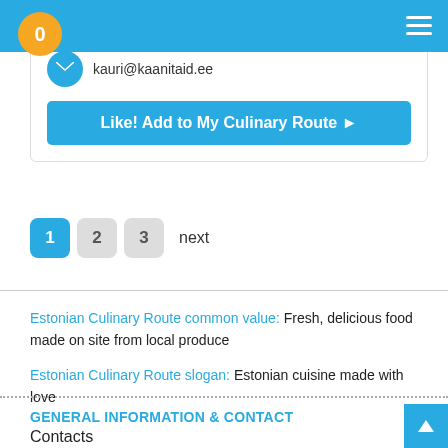Navigation bar with hamburger menu
0
kauri@kaanitaid.ee
Like! Add to My Culinary Route
1  2  3  next
Estonian Culinary Route common value: Fresh, delicious food made on site from local produce
Estonian Culinary Route slogan: Estonian cuisine made with love
GENERAL INFORMATION & CONTACT
Contacts